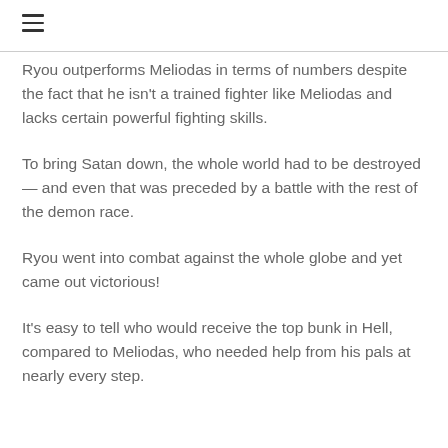☰
Ryou outperforms Meliodas in terms of numbers despite the fact that he isn't a trained fighter like Meliodas and lacks certain powerful fighting skills.
To bring Satan down, the whole world had to be destroyed — and even that was preceded by a battle with the rest of the demon race.
Ryou went into combat against the whole globe and yet came out victorious!
It's easy to tell who would receive the top bunk in Hell, compared to Meliodas, who needed help from his pals at nearly every step.